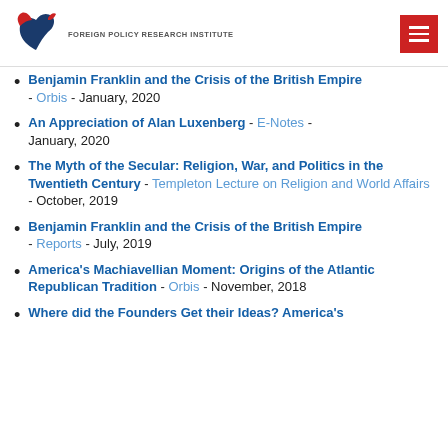FOREIGN POLICY RESEARCH INSTITUTE
Benjamin Franklin and the Crisis of the British Empire - Orbis - January, 2020
An Appreciation of Alan Luxenberg - E-Notes - January, 2020
The Myth of the Secular: Religion, War, and Politics in the Twentieth Century - Templeton Lecture on Religion and World Affairs - October, 2019
Benjamin Franklin and the Crisis of the British Empire - Reports - July, 2019
America's Machiavellian Moment: Origins of the Atlantic Republican Tradition - Orbis - November, 2018
Where did the Founders Get their Ideas? America's